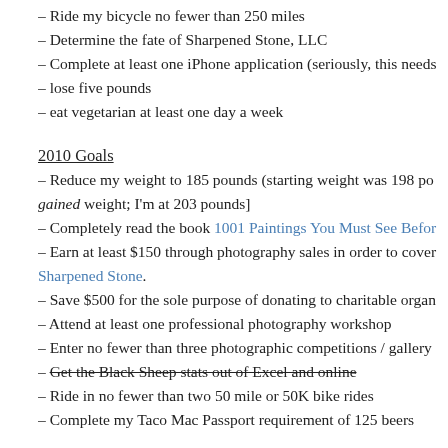– Ride my bicycle no fewer than 250 miles
– Determine the fate of Sharpened Stone, LLC
– Complete at least one iPhone application (seriously, this needs
– lose five pounds
– eat vegetarian at least one day a week
2010 Goals
– Reduce my weight to 185 pounds (starting weight was 198 po
gained weight; I'm at 203 pounds]
– Completely read the book 1001 Paintings You Must See Befor
– Earn at least $150 through photography sales in order to cover
Sharpened Stone.
– Save $500 for the sole purpose of donating to charitable organ
– Attend at least one professional photography workshop
– Enter no fewer than three photographic competitions / gallery
– Get the Black Sheep stats out of Excel and online
– Ride in no fewer than two 50 mile or 50K bike rides
– Complete my Taco Mac Passport requirement of 125 beers